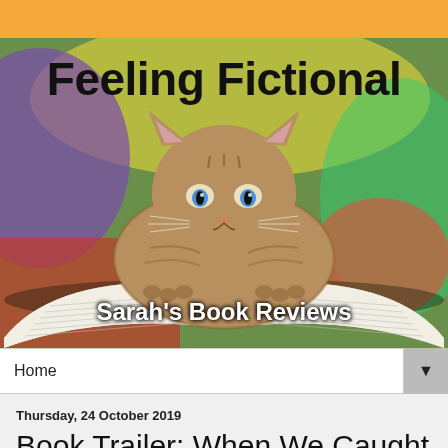[Figure (photo): Blog header banner with kitten reading a book, colorful background, title 'Feeling Fictional' in large bold text and subtitle 'Sarah's Book Reviews' in white bold text]
Home ▼
Thursday, 24 October 2019
Book Trailer: When We Caught Fire - Anna Godbersen